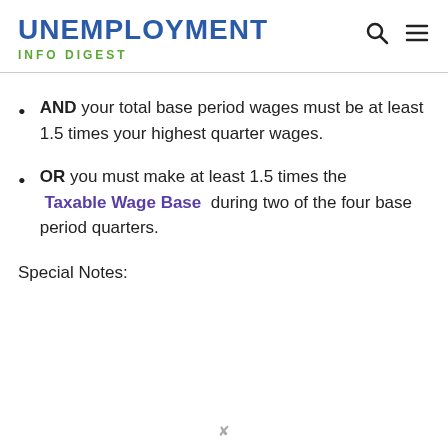UNEMPLOYMENT INFO DIGEST
AND your total base period wages must be at least 1.5 times your highest quarter wages.
OR you must make at least 1.5 times the Taxable Wage Base during two of the four base period quarters.
Special Notes: